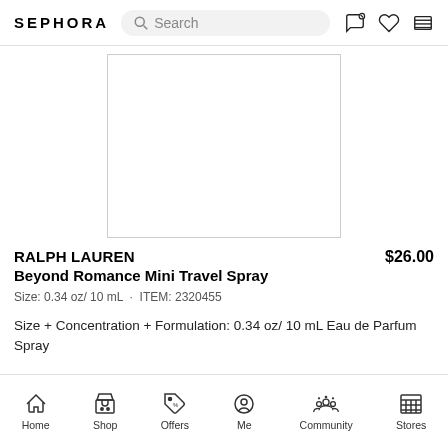SEPHORA — Search bar with icons
[Figure (photo): Product image placeholder — white box with thin border, representing the Ralph Lauren Beyond Romance Mini Travel Spray product image]
RALPH LAUREN
Beyond Romance Mini Travel Spray
Size: 0.34 oz/ 10 mL  ·  ITEM: 2320455
Size + Concentration + Formulation: 0.34 oz/ 10 mL Eau de Parfum Spray
Home  Shop  Offers  Me  Community  Stores